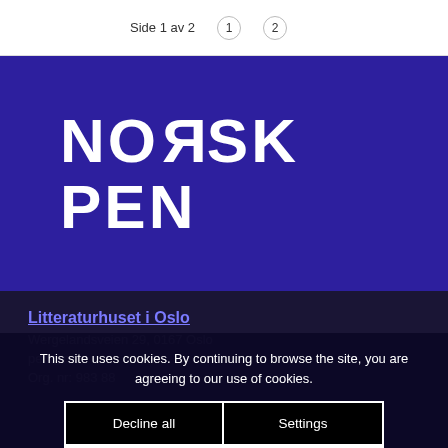Side 1 av 2  1  2
[Figure (logo): Norsk PEN logo in white text on dark blue/indigo background. Large bold uppercase text reading NORSK PEN with a mirrored R in NORSK.]
Litteraturhuset i Oslo
Wergelandsveien 29, 0167 Oslo
pen@norskpen.no
Org. nr: 983 88...
This site uses cookies. By continuing to browse the site, you are agreeing to our use of cookies.
Decline all
Settings
Accept all